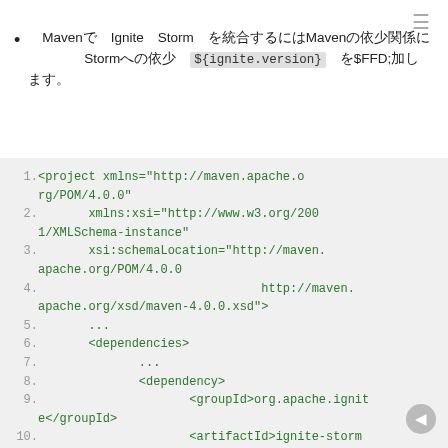MavenでIgniteとStormを統合するにはMavenの依存関係にStormへの依存 ${ignite.version} を追加します
[Figure (screenshot): XML code block showing Maven POM file with project xmlns, xsi:schemaLocation, dependencies, dependency, groupId org.apache.ignite, artifactId ignite-storm, version ${ignite.version} — displayed with green monospace text on light gray background with line numbers 1-11]